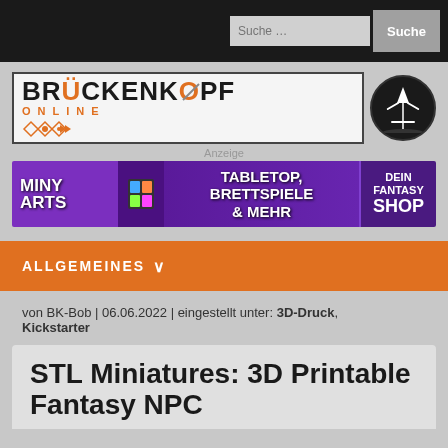[Figure (logo): Brückenkopf Online logo with orange text and warrior icon]
Anzeige
[Figure (infographic): Miny Arts advertisement banner: TABLETOP, BRETTSPIELE & MEHR – DEIN FANTASY SHOP]
ALLGEMEINES
von BK-Bob | 06.06.2022 | eingestellt unter: 3D-Druck, Kickstarter
STL Miniatures: 3D Printable Fantasy NPC